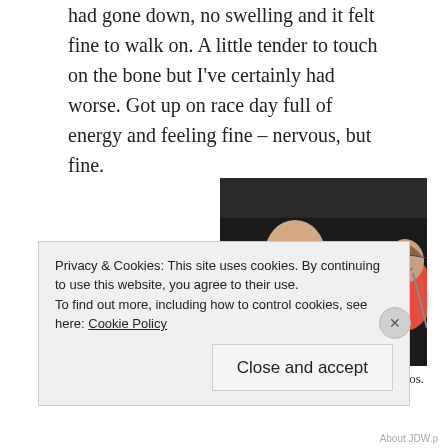had gone down, no swelling and it felt fine to walk on. A little tender to touch on the bone but I've certainly had worse. Got up on race day full of energy and feeling fine – nervous, but fine.
[Figure (photo): Three people seated in a car taking a selfie. The person on the left wears a blue hoodie, the person in the middle wears a red hoodie, and the person on the right wears a red top.]
JDW Fitness crew.  The Three Amigos.
Privacy & Cookies: This site uses cookies. By continuing to use this website, you agree to their use.
To find out more, including how to control cookies, see here: Cookie Policy
Close and accept